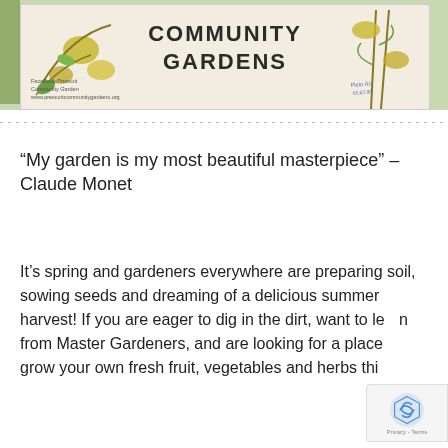[Figure (photo): Photo of a Prescott Community Gardens wooden sign with illustrated vegetables/plants (squash, corn, peppers). Sign shows Facebook: Prescott Community Garden and www.prescottcommunitygardens.org]
“My garden is my most beautiful masterpiece” – Claude Monet
It’s spring and gardeners everywhere are preparing soil, sowing seeds and dreaming of a delicious summer harvest! If you are eager to dig in the dirt, want to learn from Master Gardeners, and are looking for a place to grow your own fresh fruit, vegetables and herbs this summer,